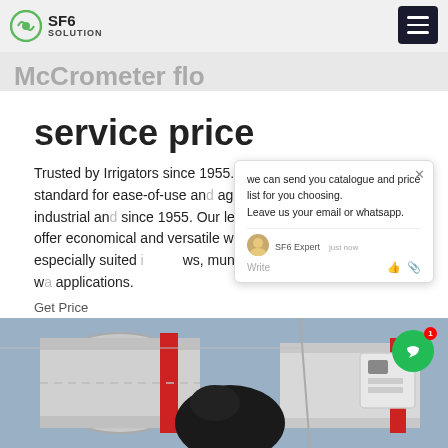SF6 SOLUTION
service price
Trusted by Irrigators since 1955. McCrometer has set the standard for ease-of-use and agricultural, municipal, industrial and since 1955. Our leading-edge prope rs offer economical and versatile wate measurement, especially suited i ws, municipal and other high-volume wa applications.
Get Price
[Figure (screenshot): Chat popup with message: we can send you catalogue and price list for you choosing. Leave us your email or whatsapp. SF6 Expert just now.]
[Figure (photo): Industrial pipe/flow meter equipment, large cylindrical white metal pipes with red band markings and attached sensor device.]